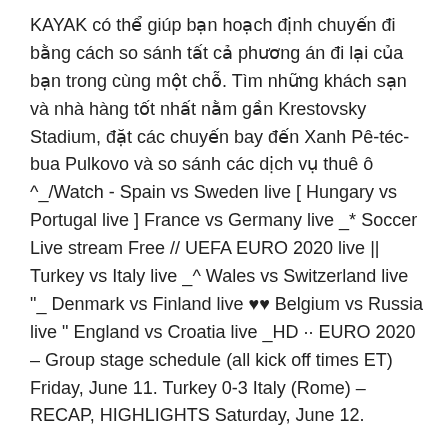KAYAK có thể giúp bạn hoạch định chuyến đi bằng cách so sánh tất cả phương án đi lại của bạn trong cùng một chỗ. Tìm những khách sạn và nhà hàng tốt nhất nằm gần Krestovsky Stadium, đặt các chuyến bay đến Xanh Pê-téc-bua Pulkovo và so sánh các dịch vụ thuê ô ^_/Watch - Spain vs Sweden live [ Hungary vs Portugal live ] France vs Germany live _* Soccer Live stream Free // UEFA EURO 2020 live || Turkey vs Italy live _^ Wales vs Switzerland live "_ Denmark vs Finland live ♥♥ Belgium vs Russia live " England vs Croatia live _HD ·· EURO 2020 – Group stage schedule (all kick off times ET) Friday, June 11. Turkey 0-3 Italy (Rome) – RECAP, HIGHLIGHTS Saturday, June 12.
2020, Group stage - Group B. See full list on uefa.com Updated match info and team breakdowns for the 2020 tournament Euro 2020 / Brackets. Finland v...